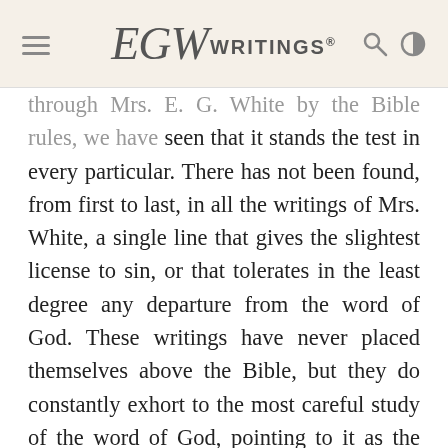EGW WRITINGS®
through Mrs. E. G. White by the Bible rules, we have seen that it stands the test in every particular. There has not been found, from first to last, in all the writings of Mrs. White, a single line that gives the slightest license to sin, or that tolerates in the least degree any departure from the word of God. These writings have never placed themselves above the Bible, but they do constantly exhort to the most careful study of the word of God, pointing to it as the great standard by which our cases will be examined in the final judgment. In her writings Christ is exalted before us as the only pattern for us to follow. He is in the most vivid manner declared to be our only hope of victory here, our only refuge from the wrath to come, the only name and means through whom we